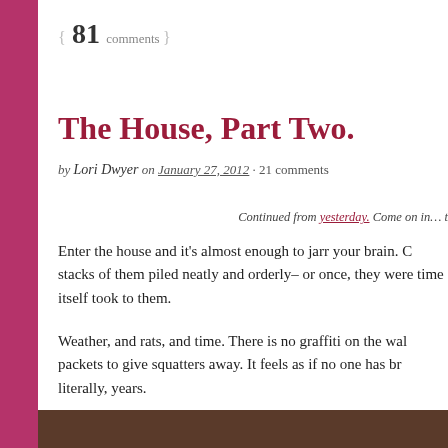{ 81 comments }
The House, Part Two.
by Lori Dwyer on January 27, 2012 · 21 comments
Continued from yesterday. Come on in… t
Enter the house and it's almost enough to jarr your brain. C stacks of them piled neatly and orderly– or once, they were time itself took to them.
Weather, and rats, and time. There is no graffiti on the wal packets to give squatters away. It feels as if no one has br literally, years.